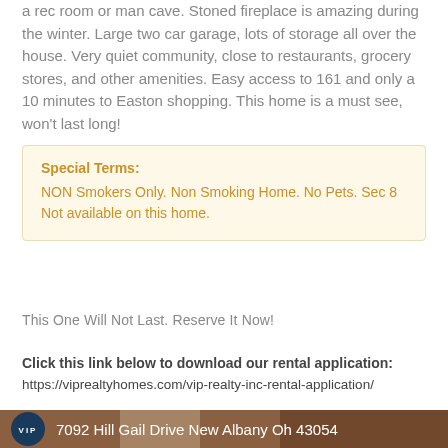a rec room or man cave. Stoned fireplace is amazing during the winter. Large two car garage, lots of storage all over the house. Very quiet community, close to restaurants, grocery stores, and other amenities. Easy access to 161 and only a 10 minutes to Easton shopping. This home is a must see, won't last long!
Special Terms:
NON Smokers Only. Non Smoking Home. No Pets. Sec 8 Not available on this home.
This One Will Not Last. Reserve It Now!
Click this link below to download our rental application:
https://viprealtyhomes.com/vip-realty-inc-rental-application/
[Figure (photo): Photo of house interior with VIP logo circle and address text: 7092 Hill Gail Drive New Albany Oh 43054]